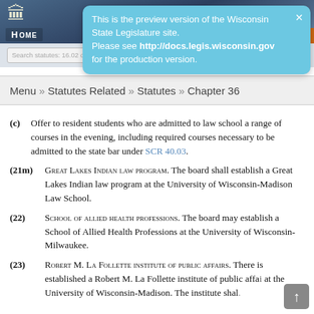[Figure (screenshot): Wisconsin State Legislature website header with capitol building image and HOME navigation label]
This is the preview version of the Wisconsin State Legislature site. Please see http://docs.legis.wisconsin.gov for the production version.
Menu » Statutes Related » Statutes » Chapter 36
(c) Offer to resident students who are admitted to law school a range of courses in the evening, including required courses necessary to be admitted to the state bar under SCR 40.03.
(21m) Great Lakes Indian law program. The board shall establish a Great Lakes Indian law program at the University of Wisconsin-Madison Law School.
(22) School of allied health professions. The board may establish a School of Allied Health Professions at the University of Wisconsin-Milwaukee.
(23) Robert M. La Follette institute of public affairs. There is established a Robert M. La Follette institute of public affairs at the University of Wisconsin-Madison. The institute shal.